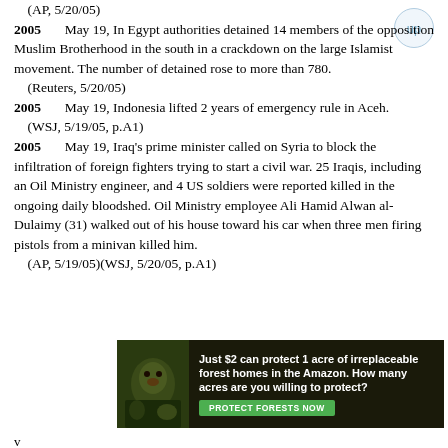(AP, 5/20/05)
2005     May 19, In Egypt authorities detained 14 members of the opposition Muslim Brotherhood in the south in a crackdown on the large Islamist movement. The number of detained rose to more than 780.
    (Reuters, 5/20/05)
2005     May 19, Indonesia lifted 2 years of emergency rule in Aceh.
    (WSJ, 5/19/05, p.A1)
2005     May 19, Iraq's prime minister called on Syria to block the infiltration of foreign fighters trying to start a civil war. 25 Iraqis, including an Oil Ministry engineer, and 4 US soldiers were reported killed in the ongoing daily bloodshed. Oil Ministry employee Ali Hamid Alwan al-Dulaimy (31) walked out of his house toward his car when three men firing pistols from a minivan killed him.
    (AP, 5/19/05)(WSJ, 5/20/05, p.A1)
[Figure (other): Advertisement banner: 'Just $2 can protect 1 acre of irreplaceable forest homes in the Amazon. How many acres are you willing to protect?' with a PROTECT FORESTS NOW button on dark green background with animal imagery.]
v